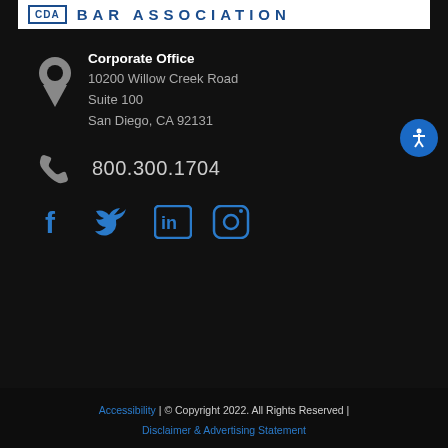[Figure (logo): CDA Bar Association logo with blue text on white background]
Corporate Office
10200 Willow Creek Road
Suite 100
San Diego, CA 92131
800.300.1704
[Figure (illustration): Social media icons: Facebook, Twitter, LinkedIn, Instagram]
Accessibility | © Copyright 2022. All Rights Reserved | Disclaimer & Advertising Statement